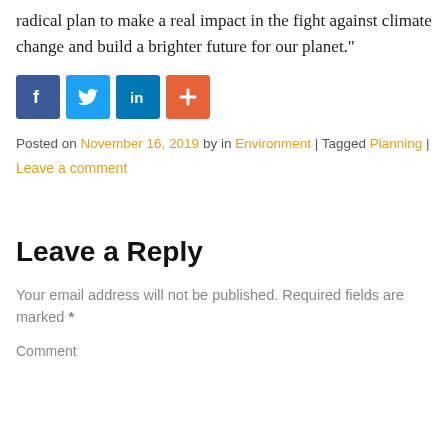radical plan to make a real impact in the fight against climate change and build a brighter future for our planet."
[Figure (other): Social media sharing icons: Facebook (blue), Twitter (light blue), LinkedIn (blue), More/Plus (orange-red)]
Posted on November 16, 2019 by in Environment | Tagged Planning | Leave a comment
Leave a Reply
Your email address will not be published. Required fields are marked *
Comment